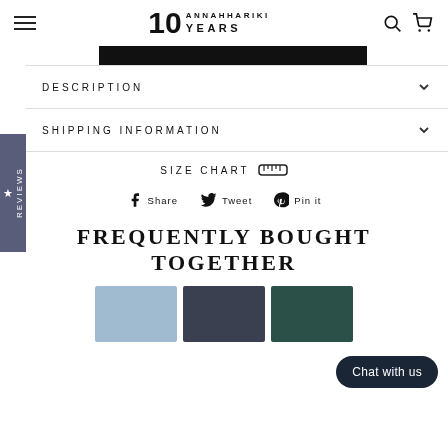10 ANNAHHARIKI YEARS — navigation header with search and cart icons
[Figure (other): Black promotional banner bar]
Reviews tab on left side
DESCRIPTION
SHIPPING INFORMATION
SIZE CHART
Share  Tweet  Pin it
FREQUENTLY BOUGHT TOGETHER
[Figure (photo): Three product thumbnail images showing clothing items]
Chat with us